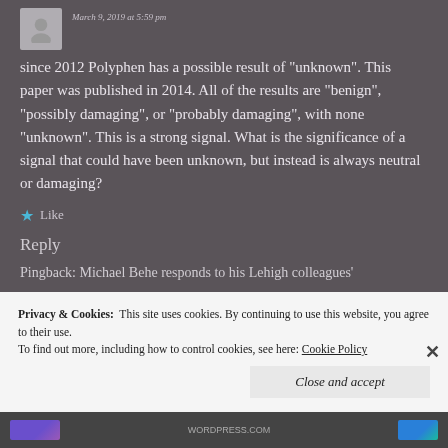March 9, 2019 at 5:59 pm
since 2012 Polyphen has a possible result of "unknown". This paper was published in 2014. All of the results are "benign", "possibly damaging", or "probably damaging", with none "unknown". This is a strong signal. What is the significance of a signal that could have been unknown, but instead is always neutral or damaging?
Like
Reply
Pingback: Michael Behe responds to his Lehigh colleagues'
Privacy & Cookies:  This site uses cookies. By continuing to use this website, you agree to their use.
To find out more, including how to control cookies, see here: Cookie Policy
Close and accept